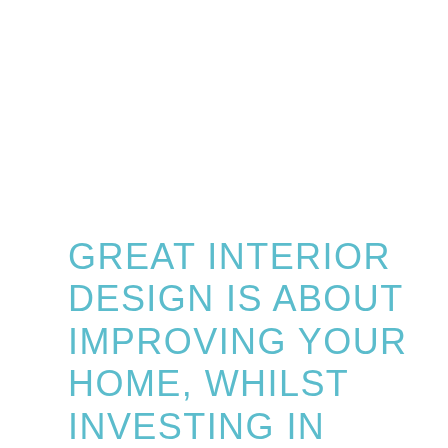GREAT INTERIOR DESIGN IS ABOUT IMPROVING YOUR HOME, WHILST INVESTING IN